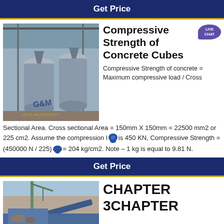Get Price
[Figure (photo): Industrial ball mill or grinding machinery inside a factory building]
Compressive Strength of Concrete Cubes
Compressive Strength of concrete = Maximum compressive load / Cross Sectional Area. Cross sectional Area = 150mm X 150mm = 22500 mm2 or 225 cm2. Assume the compression load is 450 KN, Compressive Strength = (450000 N / 225) = 204 kg/cm2. Note – 1 kg is equal to 9.81 N.
Get Price
[Figure (photo): Construction site with crane and conveyor equipment]
CHAPTER 3CHAPTER